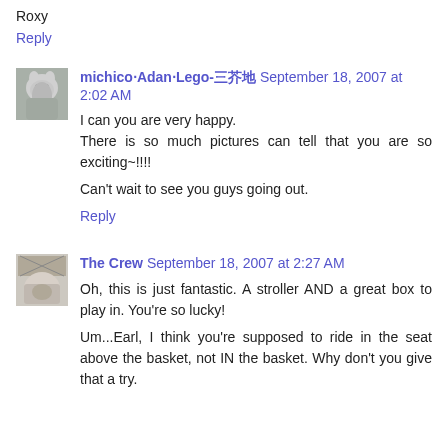Roxy
Reply
michico‧Adan‧Lego-三芥地 September 18, 2007 at 2:02 AM
I can you are very happy.
There is so much pictures can tell that you are so exciting~!!!!

Can't wait to see you guys going out.
Reply
The Crew September 18, 2007 at 2:27 AM
Oh, this is just fantastic. A stroller AND a great box to play in. You're so lucky!

Um...Earl, I think you're supposed to ride in the seat above the basket, not IN the basket. Why don't you give that a try.